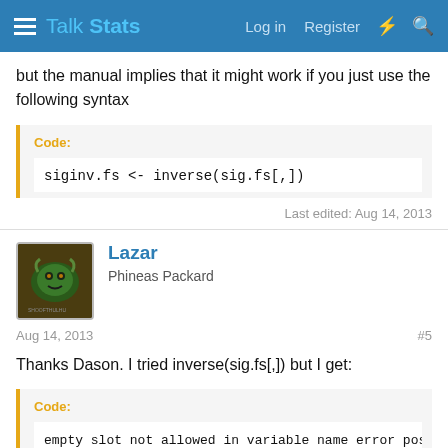Talk Stats — Log in  Register
but the manual implies that it might work if you just use the following syntax
Code:
siginv.fs <- inverse(sig.fs[,])
Last edited: Aug 14, 2013
Lazar
Phineas Packard
Aug 14, 2013
#5
Thanks Dason. I tried inverse(sig.fs[,]) but I get:
Code:
empty slot not allowed in variable name error pos 617